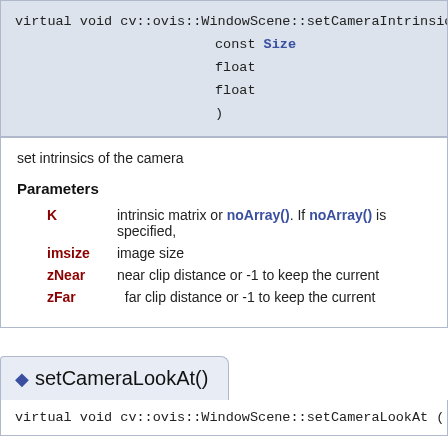virtual void cv::ovis::WindowScene::setCameraIntrinsics ( InputArray K, const Size imsize, float zNear, float zFar )
set intrinsics of the camera
Parameters
K - intrinsic matrix or noArray(). If noArray() is specified,
imsize - image size
zNear - near clip distance or -1 to keep the current
zFar - far clip distance or -1 to keep the current
setCameraLookAt()
virtual void cv::ovis::WindowScene::setCameraLookAt ( const String